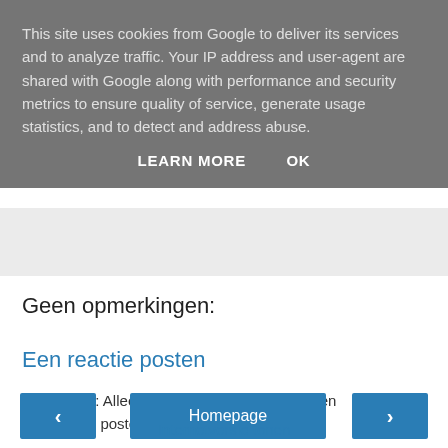This site uses cookies from Google to deliver its services and to analyze traffic. Your IP address and user-agent are shared with Google along with performance and security metrics to ensure quality of service, generate usage statistics, and to detect and address abuse.
LEARN MORE   OK
Geen opmerkingen:
Een reactie posten
Opmerking: Alleen leden van deze blog kunnen een reactie posten.
‹   Homepage   ›
Internetversie tonen